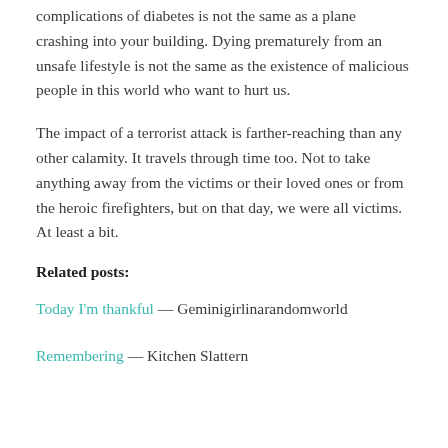complications of diabetes is not the same as a plane crashing into your building. Dying prematurely from an unsafe lifestyle is not the same as the existence of malicious people in this world who want to hurt us.
The impact of a terrorist attack is farther-reaching than any other calamity. It travels through time too. Not to take anything away from the victims or their loved ones or from the heroic firefighters, but on that day, we were all victims. At least a bit.
Related posts:
Today I'm thankful — Geminigirlinarandomworld
Remembering — Kitchen Slattern